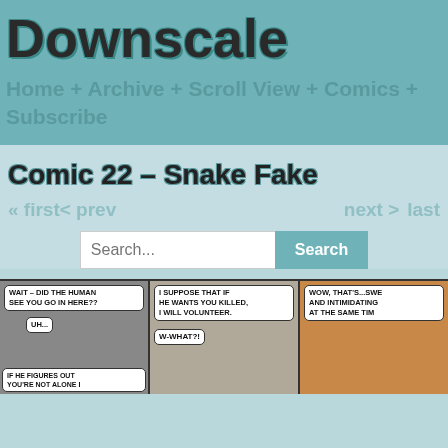Downscale
Home + Archive + Scroll View + Comics + Subscribe
Comic 22 – Snake Fake
« first
< prev
next >
last
[Figure (screenshot): Comic strip with three panels. Panel 1: Speech bubble 'WAIT – DID THE HUMAN SEE YOU GO IN HERE??' with another bubble 'UH...' and partial text 'IF HE FIGURES OUT YOU'RE NOT ALONE I'. Panel 2: Speech bubble 'I SUPPOSE THAT IF HE WANTS YOU KILLED, I WILL VOLUNTEER.' and 'W-WHAT?!'. Panel 3: Speech bubble 'WOW, THAT'S...SWE AND INTIMIDATING AT THE SAME TIM'.]